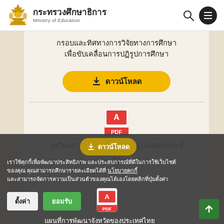[Figure (logo): Thai Ministry of Education golden emblem logo with Thai text กระทรวงศึกษาธิการ and English text Ministry of Education, with search and menu icons]
กรอบและทิศทางการวิจัยทางการศึกษา เพื่อขับเคลื่อนการปฏิรูปการศึกษา
[Figure (other): Yellow download button with download icon and Thai text ดาวน์โหลด]
[Figure (other): PDF file icon (red Adobe PDF icon with PDF label)]
บทวิเคราะห์การศึกษาไทยในโลกศตวรรษที่ 21
เราใช้คุกกี้เพื่อพัฒนาประสิทธิภาพ และประสบการณ์ที่ดีในการใช้เว็บไซต์ของคุณ คุณสามารถศึกษารายละเอียดได้ที่ นโยบายคุกกี้ และสามารถจัดการความเป็นส่วนตัวของคุณได้เองโดยคลิกที่ปุ่มตั้งค่า
[Figure (other): PDF file icon (red Adobe PDF icon with PDF label) for third document]
แผนที่การพัฒนาจังหวัดของประเทศไทย ด้านการศึกษา